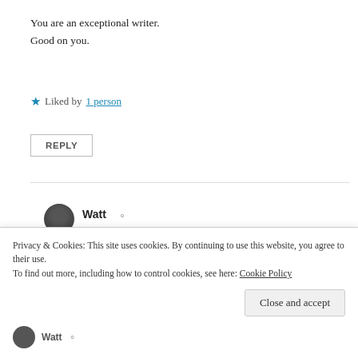You are an exceptional writer.
Good on you.
★ Liked by 1 person
REPLY
Watt
September 24, 2019 at 7:20 am
Thank you, very much, so so much. Immensely.
Like
Privacy & Cookies: This site uses cookies. By continuing to use this website, you agree to their use.
To find out more, including how to control cookies, see here: Cookie Policy
Close and accept
Watt